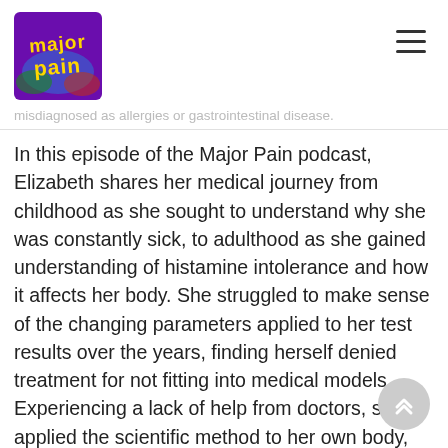[Figure (logo): Major Pain podcast logo — yellow text on purple/blue background with colorful splashes]
misdiagnosed as allergies or gastrointestinal disease.
In this episode of the Major Pain podcast, Elizabeth shares her medical journey from childhood as she sought to understand why she was constantly sick, to adulthood as she gained understanding of histamine intolerance and how it affects her body. She struggled to make sense of the changing parameters applied to her test results over the years, finding herself denied treatment for not fitting into medical models. Experiencing a lack of help from doctors, she applied the scientific method to her own body, discovering foods and environments to avoid through trial and error. Having learned many tips and tricks along the way, she shares ideas for anyone dealing with similar health concerns to consider. She also discusses the concept of disability, and how each person's journey to